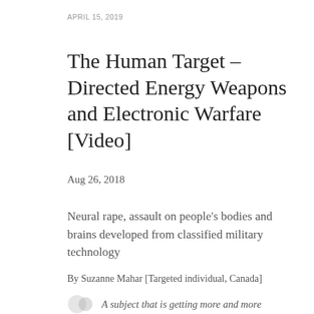APRIL 15, 2019
The Human Target – Directed Energy Weapons and Electronic Warfare [Video]
Aug 26, 2018
Neural rape, assault on people's bodies and brains developed from classified military technology
By Suzanne Mahar [Targeted individual, Canada]
A subject that is getting more and more